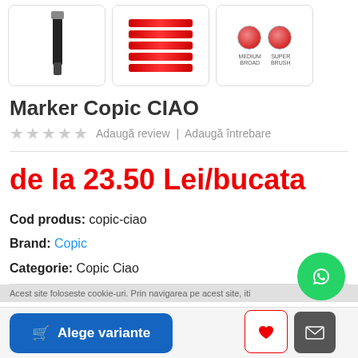[Figure (photo): Three product images of Copic CIAO markers: a single black marker, a bundle of red markers, and two marker tip variants labeled MEDIUM BROAD and SUPER BRUSH]
Marker Copic CIAO
★★★★★ Adaugă review | Adaugă întrebare
de la 23.50 Lei/bucata
Cod produs: copic-ciao
Brand: Copic
Categorie: Copic Ciao
Alege variante